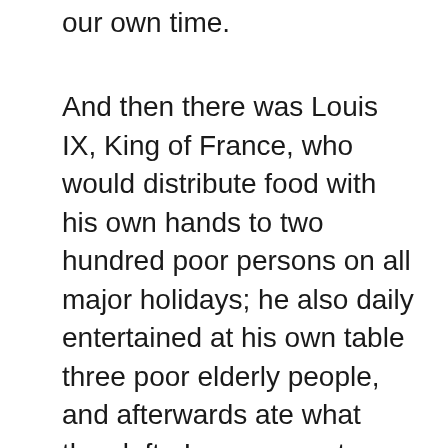our own time.
And then there was Louis IX, King of France, who would distribute food with his own hands to two hundred poor persons on all major holidays; he also daily entertained at his own table three poor elderly people, and afterwards ate what they left.  In response to those who objected that this was derogatory to the majesty of a king, he said, citing precisely the Gospel of Matthew, Chapter 25, which we just heard proclaimed: “I revere Christ in the poor, Christ who said, ‘Whatever you do unto the least of Mine, you do unto Me.’”  And he was wont to add, “The poor prepare heaven for themselves by patience,